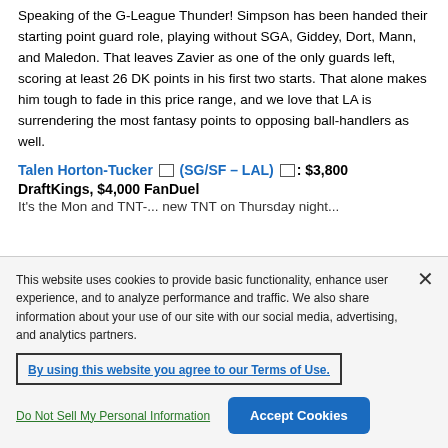Speaking of the G-League Thunder! Simpson has been handed their starting point guard role, playing without SGA, Giddey, Dort, Mann, and Maledon. That leaves Zavier as one of the only guards left, scoring at least 26 DK points in his first two starts. That alone makes him tough to fade in this price range, and we love that LA is surrendering the most fantasy points to opposing ball-handlers as well.
Talen Horton-Tucker (SG/SF – LAL): $3,800 DraftKings, $4,000 FanDuel
This website uses cookies to provide basic functionality, enhance user experience, and to analyze performance and traffic. We also share information about your use of our site with our social media, advertising, and analytics partners.
By using this website you agree to our Terms of Use.
Do Not Sell My Personal Information
Accept Cookies